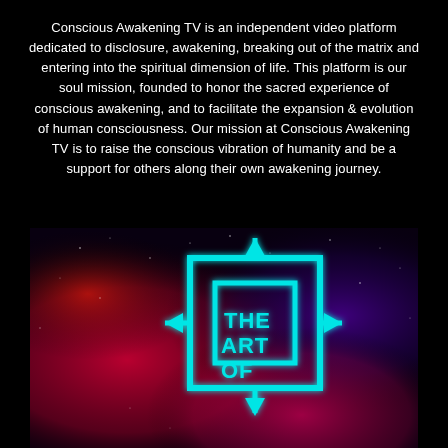Conscious Awakening TV is an independent video platform dedicated to disclosure, awakening, breaking out of the matrix and entering into the spiritual dimension of life. This platform is our soul mission, founded to honor the sacred experience of conscious awakening, and to facilitate the expansion & evolution of human consciousness. Our mission at Conscious Awakening TV is to raise the conscious vibration of humanity and be a support for others along their own awakening journey.
[Figure (logo): Cosmic space background with red, pink, and purple nebula colors. In the center is a neon cyan/teal glowing logo showing a square frame with arrows pointing in four directions (up, down, left, right) and text reading 'THE ART OF...' inside.]